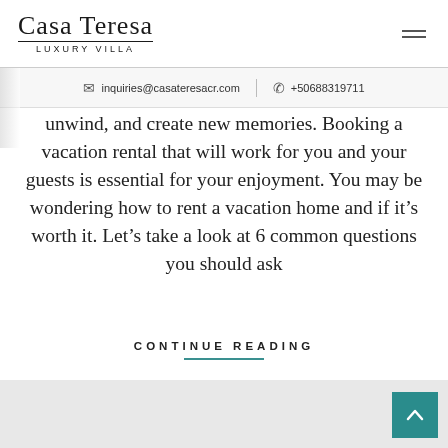Casa Teresa LUXURY VILLA
inquiries@casateresacr.com  +50688319711
unwind, and create new memories. Booking a vacation rental that will work for you and your guests is essential for your enjoyment. You may be wondering how to rent a vacation home and if it's worth it. Let's take a look at 6 common questions you should ask
CONTINUE READING